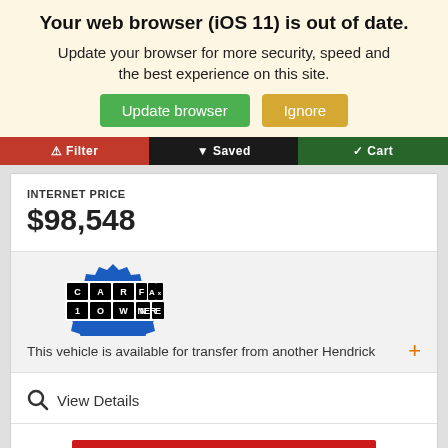Your web browser (iOS 11) is out of date.
Update your browser for more security, speed and the best experience on this site.
Update browser  Ignore
Filter  Saved  Cart
INTERNET PRICE
$98,548
[Figure (logo): CARFAX 1 OWNER badge logo — blue starburst shape with black and white text blocks spelling CARFAX on top and 1OWNER on bottom]
This vehicle is available for transfer from another Hendrick +
View Details
CONFIRM AVAILABILITY